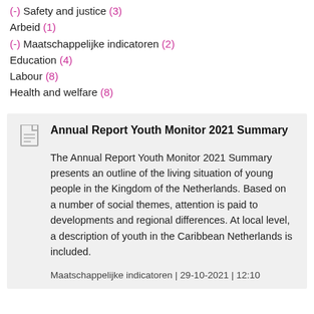(-) Safety and justice (3)
Arbeid (1)
(-) Maatschappelijke indicatoren (2)
Education (4)
Labour (8)
Health and welfare (8)
Annual Report Youth Monitor 2021 Summary
The Annual Report Youth Monitor 2021 Summary presents an outline of the living situation of young people in the Kingdom of the Netherlands. Based on a number of social themes, attention is paid to developments and regional differences. At local level, a description of youth in the Caribbean Netherlands is included.
Maatschappelijke indicatoren | 29-10-2021 | 12:10